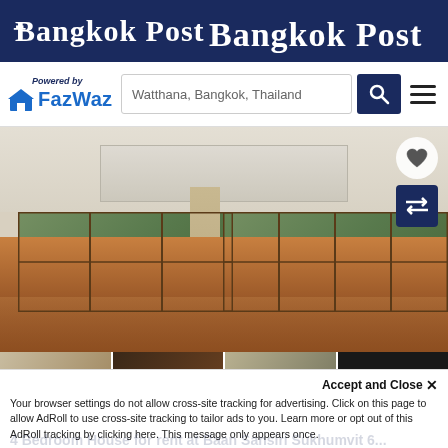Bangkok Post
[Figure (logo): FazWaz logo with house icon and 'Powered by' text above]
Watthana, Bangkok, Thailand
[Figure (photo): Interior of a large open-plan living room with hardwood floors, large windows and glass doors looking out to greenery, beige curtains, and recessed ceiling lights.]
[Figure (photo): Four thumbnail images of the property at the bottom of the main photo strip.]
Accept and Close ×
Your browser settings do not allow cross-site tracking for advertising. Click on this page to allow AdRoll to use cross-site tracking to tailor ads to you. Learn more or opt out of this AdRoll tracking by clicking here. This message only appears once.
4 Bedroom House for rent at Baan Sansiri Sukhumvit 6...